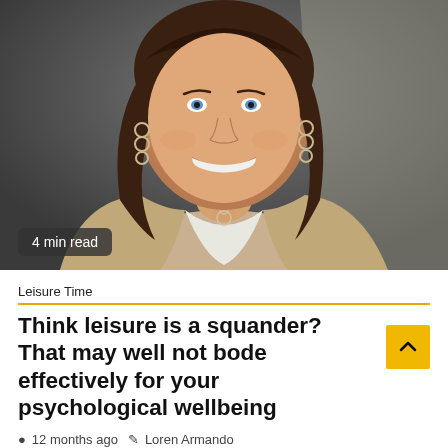[Figure (photo): Professional headshot of a smiling woman with brown curly hair, wearing a beige blazer over a white shirt, with hoop earrings and a circular pendant necklace, against a dark gray background.]
4 min read
Leisure Time
Think leisure is a squander? That may well not bode effectively for your psychological wellbeing
12 months ago   Loren Armando